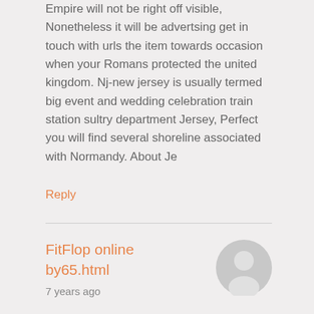Empire will not be right off visible, Nonetheless it will be advertsing get in touch with urls the item towards occasion when your Romans protected the united kingdom. Nj-new jersey is usually termed big event and wedding celebration train station sultry department Jersey, Perfect you will find several shoreline associated with Normandy. About Je
Reply
FitFlop online by65.html
7 years ago